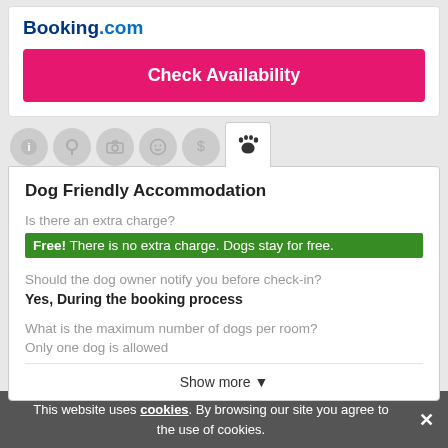[Figure (logo): Booking.com logo in blue]
Check Availability
[Figure (infographic): Navigation tab icons: info, location, camera, smiley, dollar, paw (active)]
Dog Friendly Accommodation
Is there an extra charge?
Free! There is no extra charge. Dogs stay for free.
Should the dog owner notify you before check-in?
Yes, During the booking process
What is the maximum number of dogs per room?
Only one dog is allowed
Show more ▾
Categories  1
This website uses cookies. By browsing our site you agree to the use of cookies.